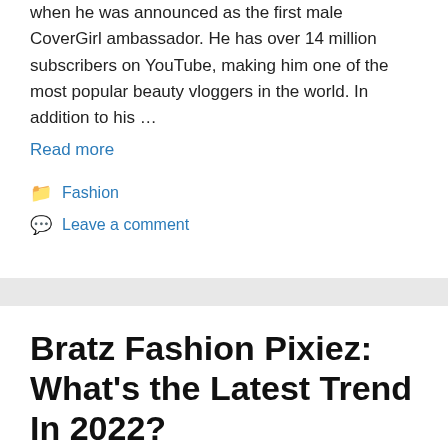when he was announced as the first male CoverGirl ambassador. He has over 14 million subscribers on YouTube, making him one of the most popular beauty vloggers in the world. In addition to his …
Read more
Fashion
Leave a comment
Bratz Fashion Pixiez: What's the Latest Trend In 2022?
August 3, 2022 by admin